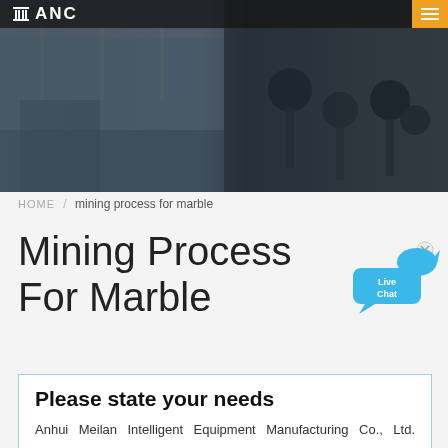ANC
[Figure (photo): Hero banner image showing an industrial factory floor on the left and microphones/recording equipment on the right, with a dark overlay]
HOME / mining process for marble
Mining Process For Marble
[Figure (illustration): Blue speech bubble with 'Live Chat' text and a blue fish/bird icon, with an x close button]
Please state your needs
Anhui Meilan Intelligent Equipment Manufacturing Co., Ltd. warmly welcome all walks of life to contact us, we are waiting for your inquiry all day!